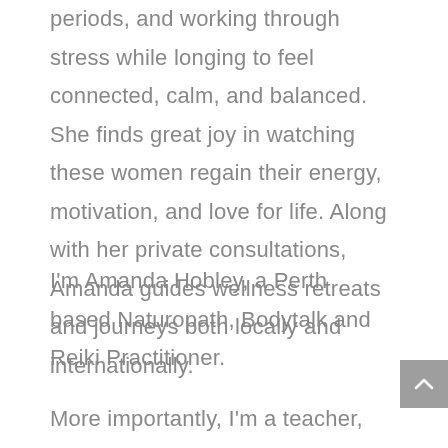periods, and working through stress while longing to feel connected, calm, and balanced. She finds great joy in watching these women regain their energy, motivation, and love for life. Along with her private consultations, Amanda guides wellness retreats and journeys both locally and internationally.
I'm Amanda Hobley, a Perth based Naturopath, Bodytalk and Reiki Practitioner.
More importantly, I'm a teacher,